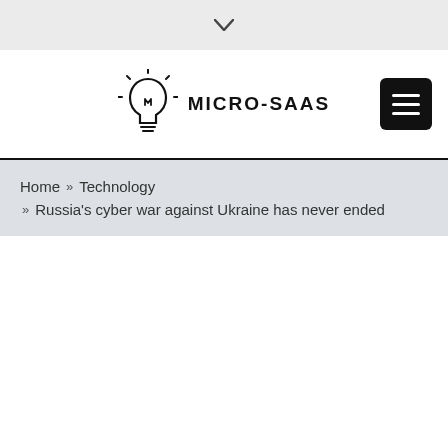▾
[Figure (logo): Micro-SaaS logo: lightbulb icon with rays and text MICRO-SAAS, plus a hamburger menu button]
Home » Technology » Russia's cyber war against Ukraine has never ended